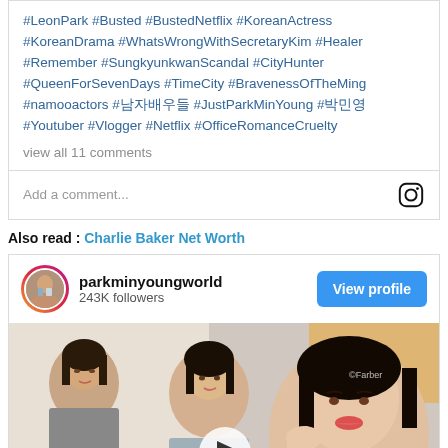#LeonPark #Busted #BustedNetflix #KoreanActress #KoreanDrama #WhatsWrongWithSecretaryKim #Healer #Remember #SungkyunkwanScandal #CityHunter #QueenForSevenDays #TimeCity #BravenessOfTheMing #namooactors #남자배우들 #JustParkMinYoung #박민영 #Youtuber #Vlogger #Netflix #OfficeRomanceCruelty
view all 11 comments
Add a comment...
Also read : Charlie Baker Net Worth
[Figure (screenshot): Instagram embed showing parkminyoungworld account with 243K followers, View profile button, and a video thumbnail with a play button showing Korean women]
parkminyoungworld
243K followers